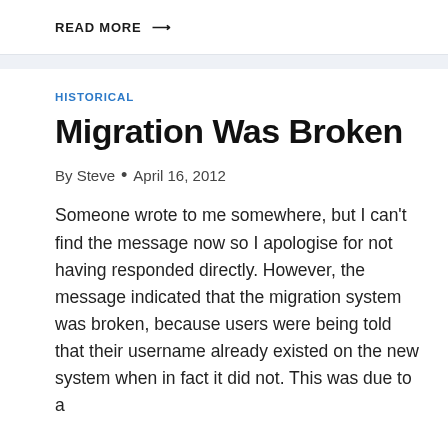READ MORE →
HISTORICAL
Migration Was Broken
By Steve • April 16, 2012
Someone wrote to me somewhere, but I can't find the message now so I apologise for not having responded directly. However, the message indicated that the migration system was broken, because users were being told that their username already existed on the new system when in fact it did not. This was due to a